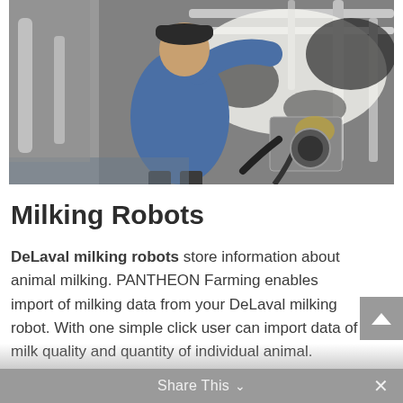[Figure (photo): A man in a blue shirt and baseball cap working with a DeLaval milking robot attached to a dairy cow in a milking parlor. Stainless steel milking equipment and metal rails are visible.]
Milking Robots
DeLaval milking robots store information about animal milking. PANTHEON Farming enables import of milking data from your DeLaval milking robot. With one simple click user can import data of milk quality and quantity of individual animal.